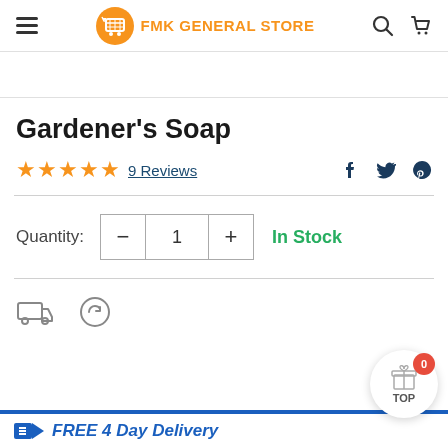FMK GENERAL STORE
Gardener's Soap
9 Reviews
Quantity: 1  In Stock
FREE 4 Day Delivery